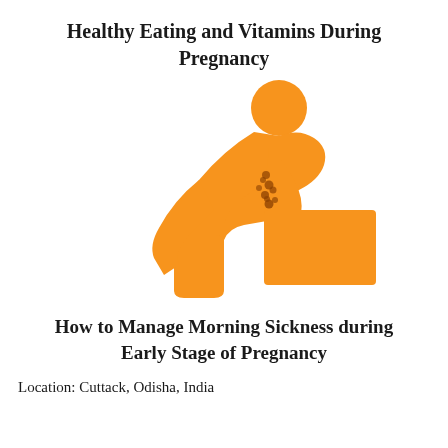Healthy Eating and Vitamins During Pregnancy
[Figure (illustration): Orange icon of a person bent over vomiting into a container, representing morning sickness during pregnancy]
How to Manage Morning Sickness during Early Stage of Pregnancy
Location: Cuttack, Odisha, India